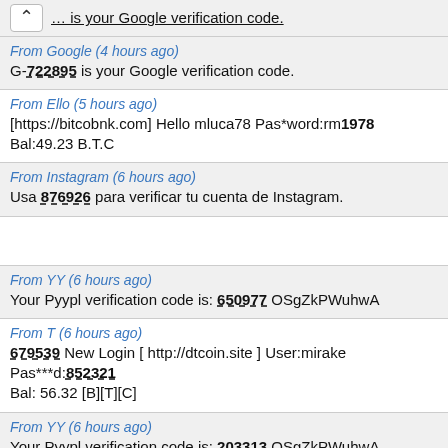… is your Google verification code.
From Google (4 hours ago)
G-722895 is your Google verification code.
From Ello (5 hours ago)
[https://bitcobnk.com] Hello mluca78 Pas*word:rm1978 Bal:49.23 B.T.C
From Instagram (6 hours ago)
Usa 876926 para verificar tu cuenta de Instagram.
From YY (6 hours ago)
Your Pyypl verification code is: 650977 OSgZkPWuhwA
From T (6 hours ago)
679539 New Login [ http://dtcoin.site ] User:mirake Pas***d:852321 Bal: 56.32 [B][T][C]
From YY (6 hours ago)
Your Pyypl verification code is: 203313 OSgZkPWuhwA
From +18444****** (6 hours ago)